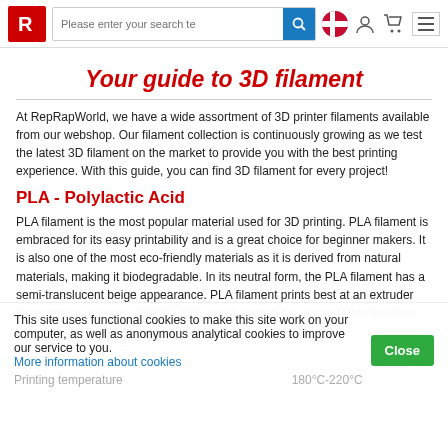Navigation bar with RepRapWorld logo, search box, Danish flag, user icon, cart icon, hamburger menu
Your guide to 3D filament
At RepRapWorld, we have a wide assortment of 3D printer filaments available from our webshop. Our filament collection is continuously growing as we test the latest 3D filament on the market to provide you with the best printing experience. With this guide, you can find 3D filament for every project!
PLA - Polylactic Acid
PLA filament is the most popular material used for 3D printing. PLA filament is embraced for its easy printability and is a great choice for beginner makers. It is also one of the most eco-friendly materials as it is derived from natural materials, making it biodegradable. In its neutral form, the PLA filament has a semi-translucent beige appearance. PLA filament prints best at an extruder temperature between 180°C-220°C and a heated bed temperature between 0°C-60°C. We offer enhanced PLA filament blends such as the PLA+ filament that prints at the same settings but has enhanced mechanical qualities and is much stronger and durable. If you're looking for alternatives, here you can find the best PLA in the UK.
This site uses functional cookies to make this site work on your computer, as well as anonymous analytical cookies to improve our service to you.
More information about cookies
Printing temperature	180°C-220°C